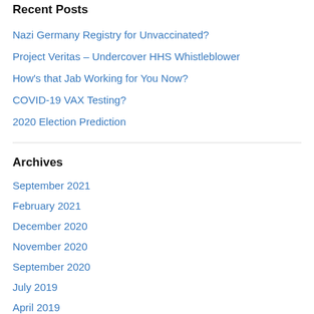Recent Posts
Nazi Germany Registry for Unvaccinated?
Project Veritas – Undercover HHS Whistleblower
How's that Jab Working for You Now?
COVID-19 VAX Testing?
2020 Election Prediction
Archives
September 2021
February 2021
December 2020
November 2020
September 2020
July 2019
April 2019
March 2019
December 2018
November 2017